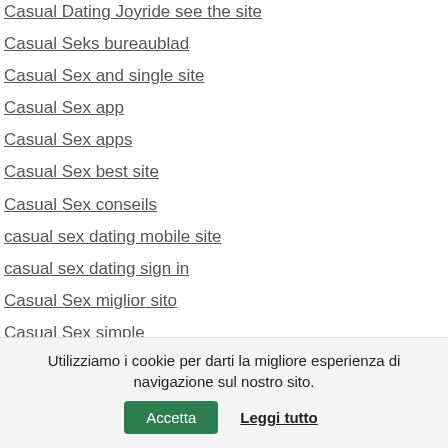Casual Dating Joyride see the site
Casual Seks bureaublad
Casual Sex and single site
Casual Sex app
Casual Sex apps
Casual Sex best site
Casual Sex conseils
casual sex dating mobile site
casual sex dating sign in
Casual Sex miglior sito
Casual Sex simple
Casual Sex sito per single
Casual Sex username
Casual Sex visitors
casual-seks dating
casualdates bewertung
Utilizziamo i cookie per darti la migliore esperienza di navigazione sul nostro sito.
Accetta
Leggi tutto